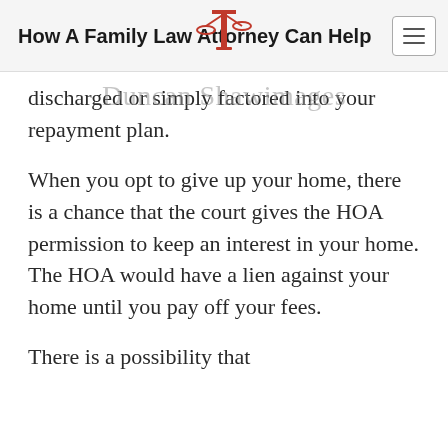How A Family Law Attorney Can Help
discharged or simply factored into your repayment plan.
When you opt to give up your home, there is a chance that the court gives the HOA permission to keep an interest in your home. The HOA would have a lien against your home until you pay off your fees.
There is a possibility that